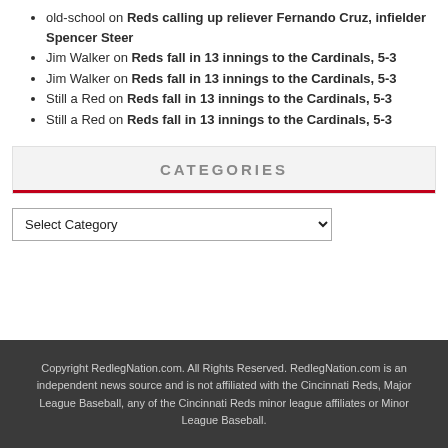old-school on Reds calling up reliever Fernando Cruz, infielder Spencer Steer
Jim Walker on Reds fall in 13 innings to the Cardinals, 5-3
Jim Walker on Reds fall in 13 innings to the Cardinals, 5-3
Still a Red on Reds fall in 13 innings to the Cardinals, 5-3
Still a Red on Reds fall in 13 innings to the Cardinals, 5-3
CATEGORIES
Select Category
Copyright RedlegNation.com. All Rights Reserved. RedlegNation.com is an independent news source and is not affiliated with the Cincinnati Reds, Major League Baseball, any of the Cincinnati Reds minor league affiliates or Minor League Baseball.